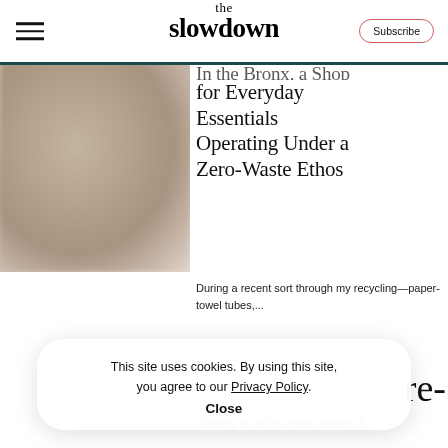the slowdown
[Figure (photo): Blurred/blurry product or storefront image with warm beige/taupe tones]
In the Bronx, a Shop for Everyday Essentials Operating Under a Zero-Waste Ethos
During a recent sort through my recycling—paper-towel tubes,...
This site uses cookies. By using this site, you agree to our Privacy Policy. Close
Growing up on the Italian island of